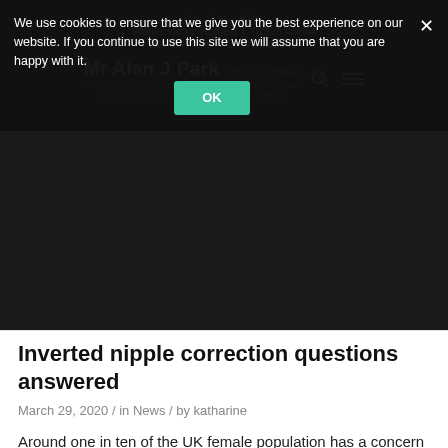For all enquiries:
Warwickshire Nuffield T. 01926 43854
BMI Meriden T. 07470 036503
Mr Alan J Park F.R.C.S. (Plast)
Mr Alan Park F.R.C.S (Plast) is a Consultant, Reconstructive and Aesthetic Surgeon based in Coventry and Warwickshire
We use cookies to ensure that we give you the best experience on our website. If you continue to use this site we will assume that you are happy with it.
Inverted nipple correction questions answered
March 29, 2020 / in News / by katharine
Around one in ten of the UK female population has a concern with their nipples that requires surgical correction – it is more common than you might think. It is typically one of three things that leads people to feel that they need to seek guidance from a surgeon: